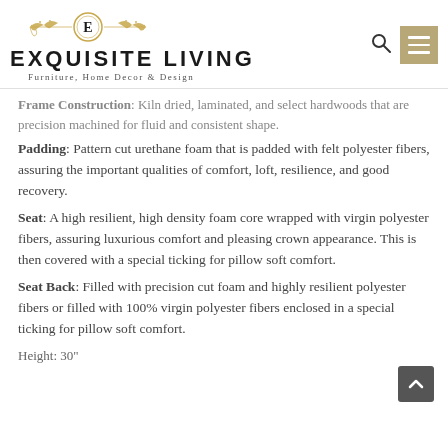[Figure (logo): Exquisite Living logo with ornamental emblem containing the letter E, gold decorative flourishes, brand name in large bold caps, and subtitle 'Furniture, Home Decor & Design']
Frame Construction: Kiln dried, laminated, and select hardwoods that are precision machined for fluid and consistent shape.
Padding: Pattern cut urethane foam that is padded with felt polyester fibers, assuring the important qualities of comfort, loft, resilience, and good recovery.
Seat: A high resilient, high density foam core wrapped with virgin polyester fibers, assuring luxurious comfort and pleasing crown appearance. This is then covered with a special ticking for pillow soft comfort.
Seat Back: Filled with precision cut foam and highly resilient polyester fibers or filled with 100% virgin polyester fibers enclosed in a special ticking for pillow soft comfort.
Height: 30"